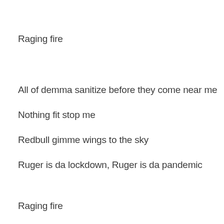Raging fire
All of demma sanitize before they come near me
Nothing fit stop me
Redbull gimme wings to the sky
Ruger is da lockdown, Ruger is da pandemic
Raging fire